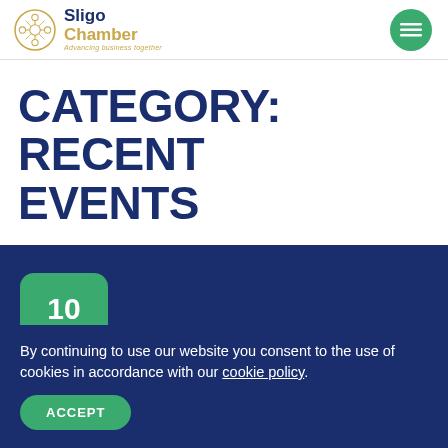Sligo Chamber Advancing business together
CATEGORY: RECENT EVENTS
[Figure (other): Event card with date badge showing 10 MAY on a dark navy blue background]
By continuing to use our website you consent to the use of cookies in accordance with our cookie policy.
ACCEPT